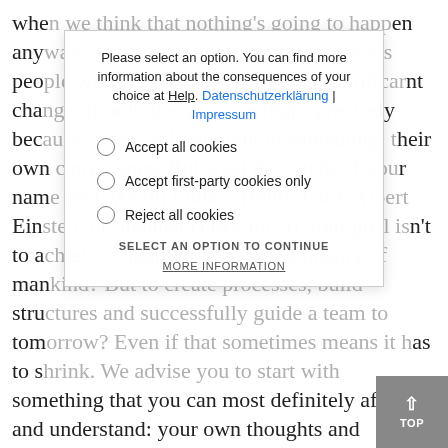when we think that nothing's going to happen anyway. At the same time, there are always people who are able to bring about significant change. If only because – perhaps precisely because – they hold on tight to something: their own convictions. But what do you do if your name isn't Martin Luther, Henry Ford, Albert Einstein or Stephen Hawking? If your goal isn't to achieve a quantum leap in the history of mankind? But to create processes, build structures and successfully guide a team to tomorrow? Even if that sometimes means it has to shrink. We advise you to start with something that you can most definitely affect and understand: your own thoughts and actions. And interventions can build on from that to change the thoughts and actions of others. We'll be happy to tell you more about our approach to consulting and what happens
[Figure (screenshot): Cookie consent overlay dialog with options: Accept all cookies, Accept first-party cookies only, Reject all cookies. Contains links to Help, Datenschutzerklärung, and Impressum. Bottom has SELECT AN OPTION TO CONTINUE and MORE INFORMATION buttons.]